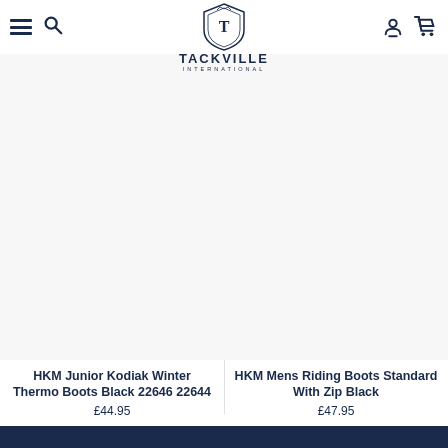related products
[Figure (logo): Tackville International shield logo with letter T]
HKM Junior Kodiak Winter Thermo Boots Black 22646 22644
£44.95
HKM Mens Riding Boots Standard With Zip Black
£47.95